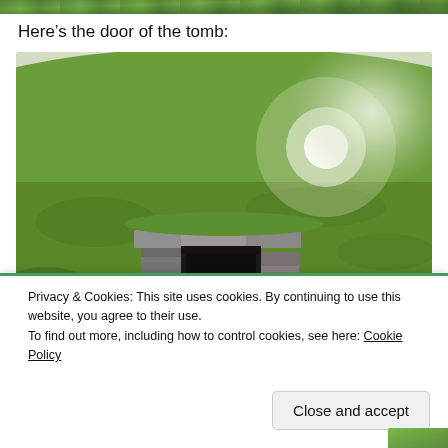[Figure (photo): Narrow strip of green grassy hillside photo at the very top of the page]
Here's the door of the tomb:
[Figure (photo): Photograph of the entrance/door of an ancient stone tomb embedded in a green grassy mound, with sunlight flare on the right side]
Privacy & Cookies: This site uses cookies. By continuing to use this website, you agree to their use.
To find out more, including how to control cookies, see here: Cookie Policy
Close and accept